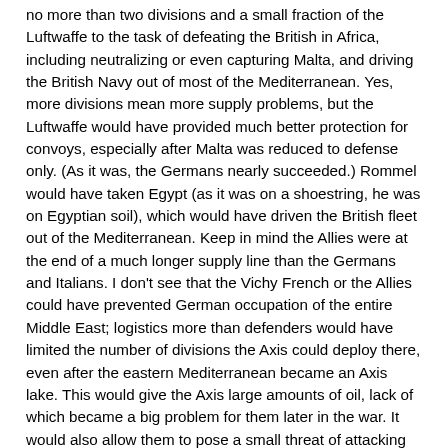no more than two divisions and a small fraction of the Luftwaffe to the task of defeating the British in Africa, including neutralizing or even capturing Malta, and driving the British Navy out of most of the Mediterranean. Yes, more divisions mean more supply problems, but the Luftwaffe would have provided much better protection for convoys, especially after Malta was reduced to defense only. (As it was, the Germans nearly succeeded.) Rommel would have taken Egypt (as it was on a shoestring, he was on Egyptian soil), which would have driven the British fleet out of the Mediterranean. Keep in mind the Allies were at the end of a much longer supply line than the Germans and Italians. I don't see that the Vichy French or the Allies could have prevented German occupation of the entire Middle East; logistics more than defenders would have limited the number of divisions the Axis could deploy there, even after the eastern Mediterranean became an Axis lake. This would give the Axis large amounts of oil, lack of which became a big problem for them later in the war. It would also allow them to pose a small threat of attacking the Soviet Union through the Caucasus (where Soviet oil reserves were located), and even via raids from Afghanistan. Again, logistics would have limited forces available.